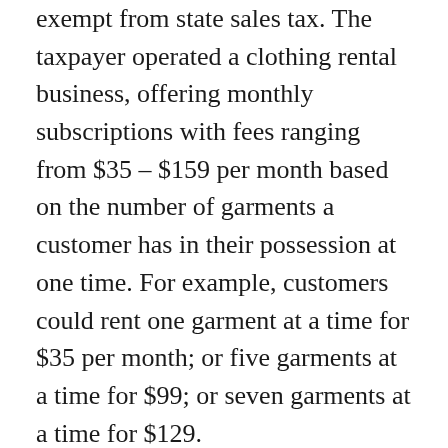exempt from state sales tax. The taxpayer operated a clothing rental business, offering monthly subscriptions with fees ranging from $35 – $159 per month based on the number of garments a customer has in their possession at one time. For example, customers could rent one garment at a time for $35 per month; or five garments at a time for $99; or seven garments at a time for $129.
New York imposes sales tax on receipts from the rental of tangible personal property, however, pursuant to Tax Law § 1115(a)(30), footwear and clothing is exempt from the state sales tax provided that each item is sold